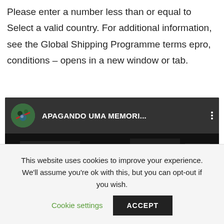Please enter a number less than or equal to Select a valid country. For additional information, see the Global Shipping Programme terms epro, conditions – opens in a new window or tab.
[Figure (screenshot): YouTube-style video thumbnail showing a dark video player with a circular avatar icon on the top left and the title 'APAGANDO UMA MEMORI...' in white text, with a three-dot menu icon on the right. The video body shows a dark blurry image.]
This website uses cookies to improve your experience. We'll assume you're ok with this, but you can opt-out if you wish. Cookie settings ACCEPT